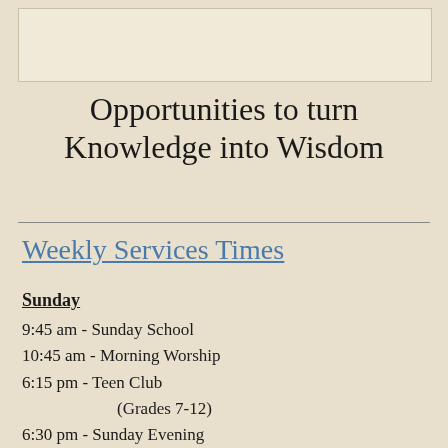[Figure (other): Blank image box at top of page]
Opportunities to turn Knowledge into Wisdom
Weekly Services Times
Sunday
9:45 am - Sunday School
10:45 am - Morning Worship
6:15 pm - Teen Club
(Grades 7-12)
6:30 pm - Sunday Evening
Wednesday